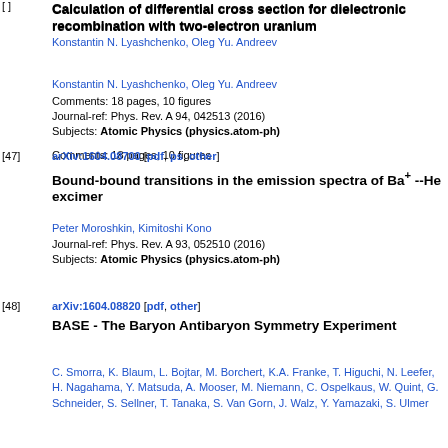[46] (truncated at top)
Calculation of differential cross section for dielectronic recombination with two-electron uranium
Konstantin N. Lyashchenko, Oleg Yu. Andreev
Comments: 18 pages, 10 figures
Journal-ref: Phys. Rev. A 94, 042513 (2016)
Subjects: Atomic Physics (physics.atom-ph)
[47] arXiv:1604.08700 [pdf, ps, other]
Bound-bound transitions in the emission spectra of Ba+ --He excimer
Peter Moroshkin, Kimitoshi Kono
Journal-ref: Phys. Rev. A 93, 052510 (2016)
Subjects: Atomic Physics (physics.atom-ph)
[48] arXiv:1604.08820 [pdf, other]
BASE - The Baryon Antibaryon Symmetry Experiment
C. Smorra, K. Blaum, L. Bojtar, M. Borchert, K.A. Franke, T. Higuchi, N. Leefer, H. Nagahama, Y. Matsuda, A. Mooser, M. Niemann, C. Ospelkaus, W. Quint, G. Schneider, S. Sellner, T. Tanaka, S. Van Gorn, J. Walz, Y. Yamazaki, S. Ulmer